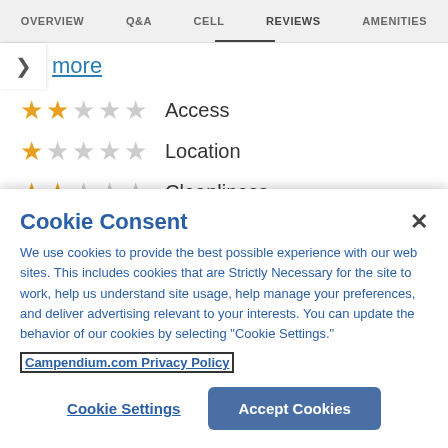OVERVIEW   Q&A   CELL   REVIEWS   AMENITIES
more
★★☆☆☆  Access
★☆☆☆☆  Location
★★☆☆☆  Cleanliness
Cookie Consent
We use cookies to provide the best possible experience with our web sites. This includes cookies that are Strictly Necessary for the site to work, help us understand site usage, help manage your preferences, and deliver advertising relevant to your interests. You can update the behavior of our cookies by selecting "Cookie Settings."
Campendium.com Privacy Policy
Cookie Settings   Accept Cookies